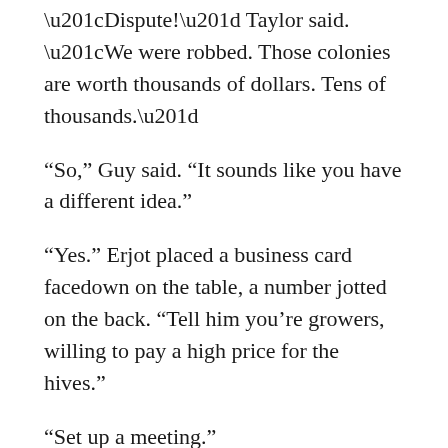“Dispute!” Taylor said. “We were robbed. Those colonies are worth thousands of dollars. Tens of thousands.”
“So,” Guy said. “It sounds like you have a different idea.”
“Yes.” Erjot placed a business card facedown on the table, a number jotted on the back. “Tell him you’re growers, willing to pay a high price for the hives.”
“Set up a meeting.”
“Exactly. Fetu and the hives will be at the same place at the same time. If you find that he’s stolen from you, you can handle things however you want.” The corner of Erjot’s eye twitched, stirring his fine black lashes. He set his sunglasses back on his nose and